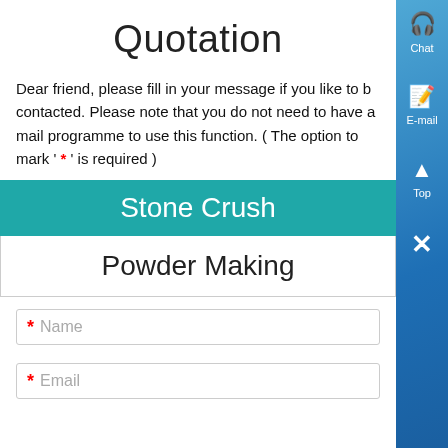Quotation
Dear friend, please fill in your message if you like to be contacted. Please note that you do not need to have a mail programme to use this function. ( The option to mark ' * ' is required )
Stone Crush
Powder Making
* Name
* Email